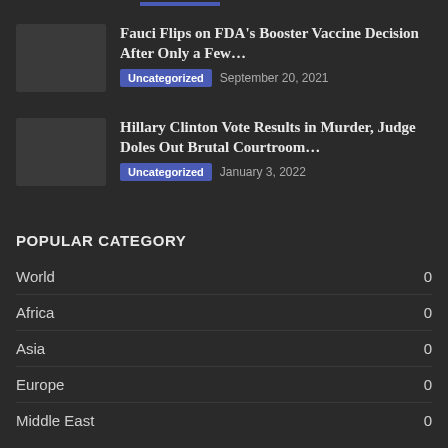Fauci Flips on FDA's Booster Vaccine Decision After Only a Few…
Uncategorized   September 20, 2021
Hillary Clinton Vote Results in Murder, Judge Doles Out Brutal Courtroom…
Uncategorized   January 3, 2022
POPULAR CATEGORY
World    0
Africa   0
Asia     0
Europe   0
Middle East   0